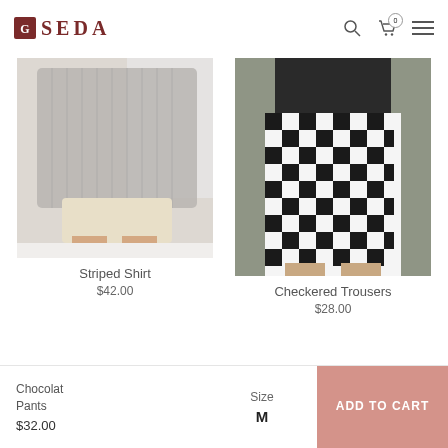SEDA
[Figure (photo): Woman wearing a striped oversized shirt with light shorts, standing near a window]
Striped Shirt
$42.00
[Figure (photo): Close-up of checkered black and white trousers worn by a model]
Checkered Trousers
$28.00
Chocolat Pants
$32.00
Size
M
ADD TO CART